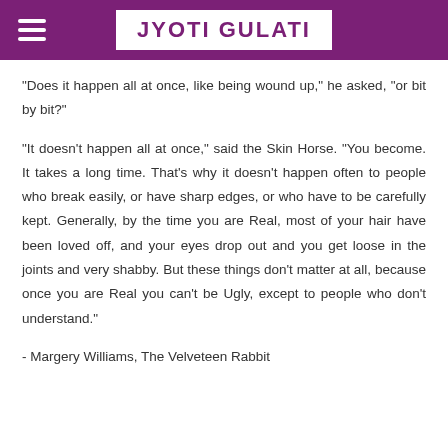JYOTI GULATI
"Does it happen all at once, like being wound up," he asked, "or bit by bit?"
"It doesn't happen all at once," said the Skin Horse. "You become. It takes a long time. That's why it doesn't happen often to people who break easily, or have sharp edges, or who have to be carefully kept. Generally, by the time you are Real, most of your hair have been loved off, and your eyes drop out and you get loose in the joints and very shabby. But these things don't matter at all, because once you are Real you can't be Ugly, except to people who don't understand."
- Margery Williams, The Velveteen Rabbit